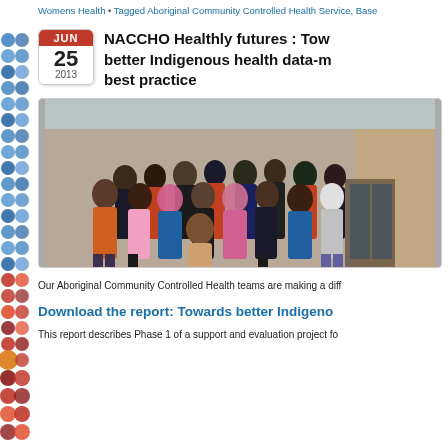Womens Health • Tagged Aboriginal Community Controlled Health Service, Base...
NACCHO Healthly futures : Towards better Indigenous health data-m... best practice
[Figure (photo): Group photo of approximately 25 Aboriginal Community Controlled Health team members standing outside a building]
Our Aboriginal Community Controlled Health teams are making a diff...
Download the report: Towards better Indigeno...
This report describes Phase 1 of a support and evaluation project fo... AIHM Let the old to store the capabilities of excellent the land...